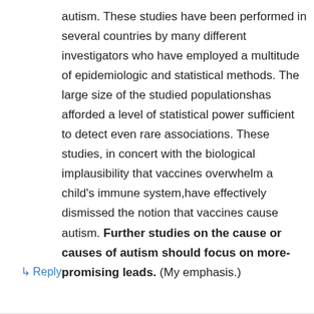autism. These studies have been performed in several countries by many different investigators who have employed a multitude of epidemiologic and statistical methods. The large size of the studied populationshas afforded a level of statistical power sufficient to detect even rare associations. These studies, in concert with the biological implausibility that vaccines overwhelm a child's immune system,have effectively dismissed the notion that vaccines cause autism. Further studies on the cause or causes of autism should focus on more-promising leads. (My emphasis.)
↳ Reply